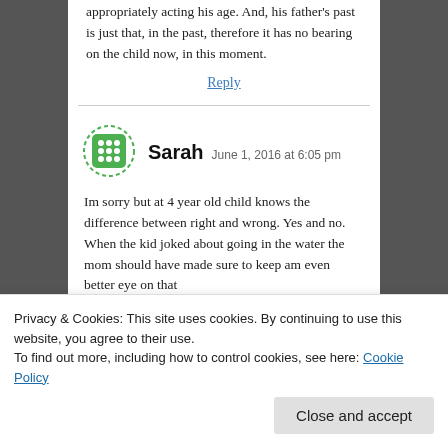appropriately acting his age. And, his father's past is just that, in the past, therefore it has no bearing on the child now, in this moment.
Reply
Sarah  June 1, 2016 at 6:05 pm
Im sorry but at 4 year old child knows the difference between right and wrong. Yes and no. When the kid joked about going in the water the mom should have made sure to keep am even better eye on that
Privacy & Cookies: This site uses cookies. By continuing to use this website, you agree to their use.
To find out more, including how to control cookies, see here: Cookie Policy
Close and accept